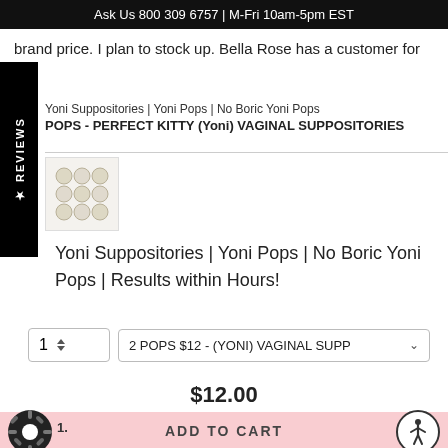Ask Us 800 309 6757 | M-Fri 10am-5pm EST
brand price. I plan to stock up. Bella Rose has a customer for life.
Yoni Suppositories | Yoni Pops | No Boric Yoni Pops
POPS - PERFECT KITTY (Yoni) VAGINAL SUPPOSITORIES
[Figure (photo): Small thumbnail image of pearl-white suppository capsules arranged in a grid]
Yoni Suppositories | Yoni Pops | No Boric Yoni Pops | Results within Hours!
1  2 POPS $12 - (YONI) VAGINAL SUPP
$12.00
ADD TO CART